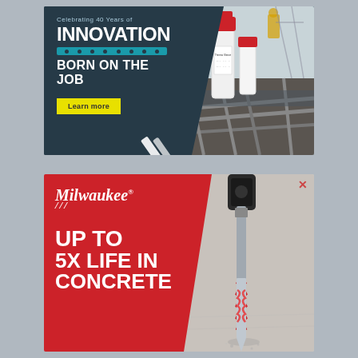[Figure (photo): Top advertisement banner: Dark teal background on left with text 'Celebrating 40 Years of INNOVATION BORN ON THE JOB' and a 'Learn more' yellow button. Right side shows a construction site photo with Thermo Sleeve product on rebar. White diagonal slash graphic element.]
[Figure (photo): Bottom advertisement banner: Red background on left with Milwaukee Tool logo, lightning bolt, and text 'UP TO 5X LIFE IN CONCRETE'. Right side shows a close-up photo of a red and silver drill bit boring into concrete.]